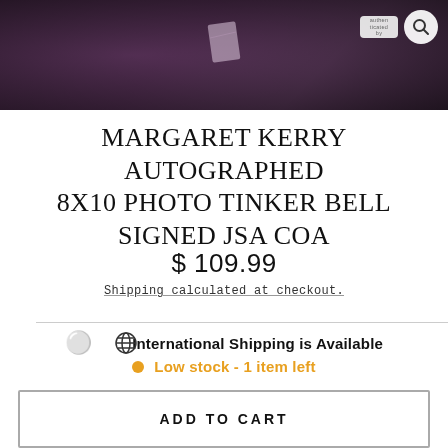[Figure (photo): Dark purple/mauve hero product image showing a signed photo partially visible, with a search icon and badge in the top right corner]
MARGARET KERRY AUTOGRAPHED 8X10 PHOTO TINKER BELL SIGNED JSA COA
$ 109.99
Shipping calculated at checkout.
International Shipping is Available
Low stock - 1 item left
ADD TO CART